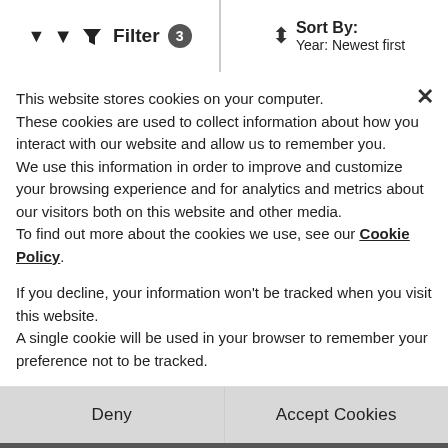Filter 3 | Sort By: Year: Newest first
IMAGE COMING SOON
Dorset
Marine Enterprises Ltd (Parts division)
[Figure (screenshot): Background listing items: 2021 Volvo Penta TMD31A Marine Diesel Engine Breaking For Spares, 2021 Volvo Penta MD2A Marine Diesel Engine Breaking For Spares, 2021 Volvo Penta MD11B Marine Diesel Engine - all from Marine Enterprises Ltd (Parts division)]
This website stores cookies on your computer.
These cookies are used to collect information about how you interact with our website and allow us to remember you.
We use this information in order to improve and customize your browsing experience and for analytics and metrics about our visitors both on this website and other media.
To find out more about the cookies we use, see our Cookie Policy.

If you decline, your information won't be tracked when you visit this website.
A single cookie will be used in your browser to remember your preference not to be tracked.
Deny
Accept Cookies